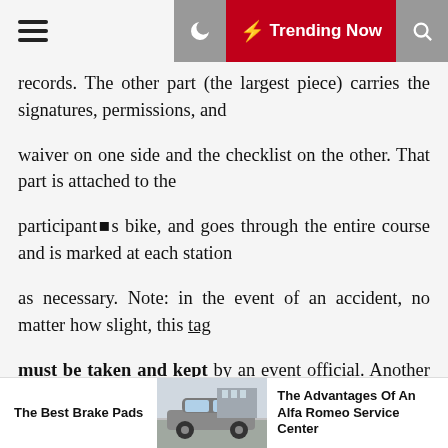≡  ☾  ⚡ Trending Now  🔍
records. The other part (the largest piece) carries the signatures, permissions, and
waiver on one side and the checklist on the other. That part is attached to the
participant■s bike, and goes through the entire course and is marked at each station
as necessary. Note: in the event of an accident, no matter how slight, this tag
must be taken and kept by an event official. Another tag may be substituted
if the participant is able to continue through the
The Best Brake Pads   [car image]   The Advantages Of An Alfa Romeo Service Center